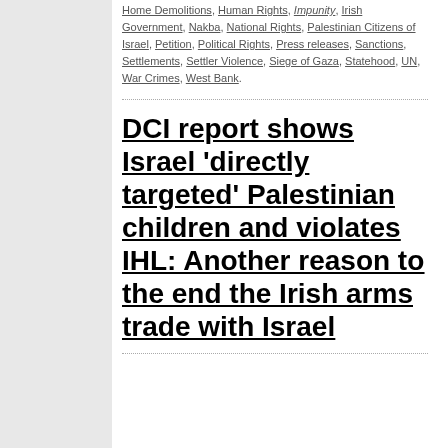Home Demolitions, Human Rights, Impunity, Irish Government, Nakba, National Rights, Palestinian Citizens of Israel, Petition, Political Rights, Press releases, Sanctions, Settlements, Settler Violence, Siege of Gaza, Statehood, UN, War Crimes, West Bank.
DCI report shows Israel 'directly targeted' Palestinian children and violates IHL: Another reason to the end the Irish arms trade with Israel